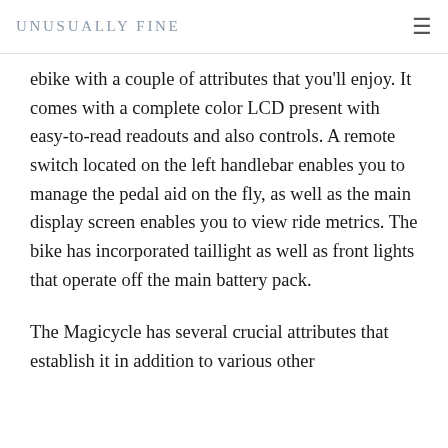UNUSUALLY FINE
ebike with a couple of attributes that you'll enjoy. It comes with a complete color LCD present with easy-to-read readouts and also controls. A remote switch located on the left handlebar enables you to manage the pedal aid on the fly, as well as the main display screen enables you to view ride metrics. The bike has incorporated taillight as well as front lights that operate off the main battery pack.
The Magicycle has several crucial attributes that establish it in addition to various other